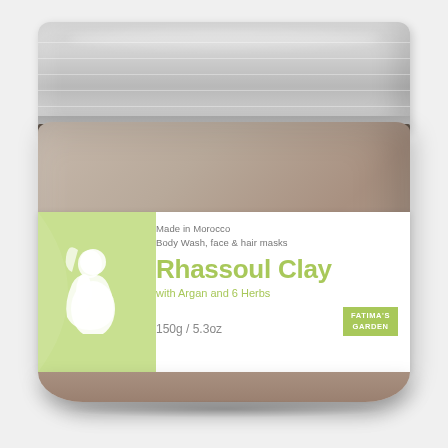[Figure (photo): A round glass jar of Rhassoul Clay product with a silver screw-top metal lid. The jar contains grayish-brown clay powder. It has a white label with a green section on the left featuring a silhouette logo. The label reads 'Made In Morocco / Body Wash, face & hair masks', 'Rhassoul Clay', 'with Argan and 6 Herbs', '150g / 5.3oz', and features the 'FATIMA'S GARDEN' brand logo in a green box.]